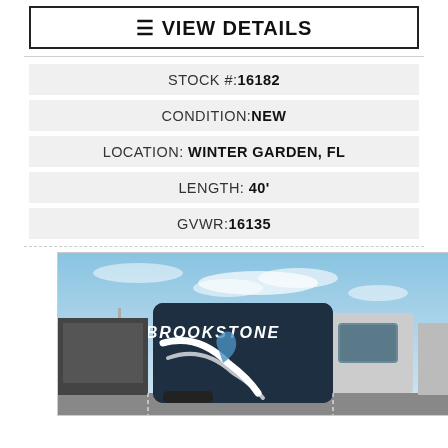VIEW DETAILS
STOCK #:16182
CONDITION:NEW
LOCATION: WINTER GARDEN, FL
LENGTH: 40'
GVWR:16135
[Figure (photo): Exterior front view of a Brookstone fifth-wheel RV against a blue sky with some clouds. The RV is dark blue/black with white accents and the Brookstone logo on the front cap.]